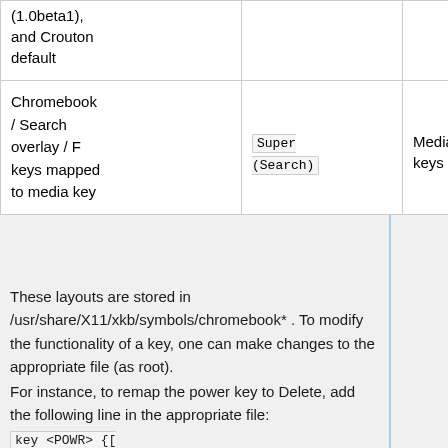| Layout | Key | Result | Function keys |
| --- | --- | --- | --- |
| (1.0beta1), and Crouton default |  |  |  |
| Chromebook / Search overlay / F keys mapped to media key | Super (Search) | Media keys | Fu... ke... |
These layouts are stored in /usr/share/X11/xkb/symbols/chromebook* . To modify the functionality of a key, one can make changes to the appropriate file (as root).
For instance, to remap the power key to Delete, add the following line in the appropriate file: key <POWR> {[ Delete ] }; , and set the power button to "Do nothing" in the Power Manager menu.